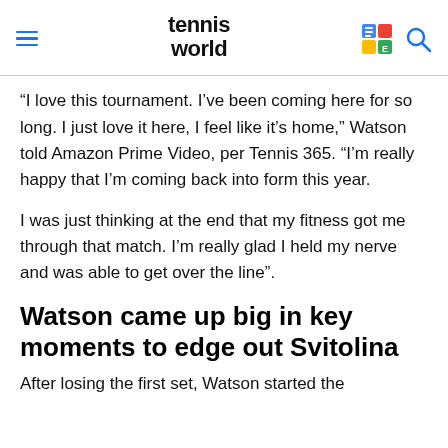tennis world
“I love this tournament. I’ve been coming here for so long. I just love it here, I feel like it’s home,” Watson told Amazon Prime Video, per Tennis 365. “I’m really happy that I’m coming back into form this year.
I was just thinking at the end that my fitness got me through that match. I’m really glad I held my nerve and was able to get over the line”.
Watson came up big in key moments to edge out Svitolina
After losing the first set, Watson started the